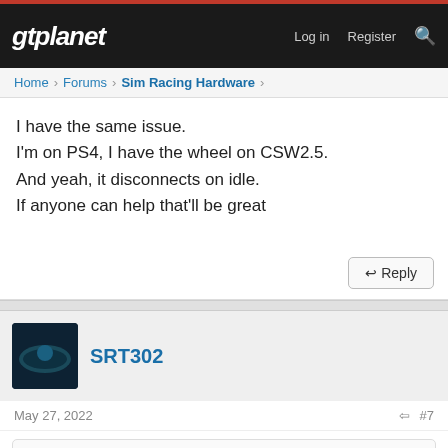gtplanet | Log in  Register
Home > Forums > Sim Racing Hardware >
I have the same issue.
I'm on PS4, I have the wheel on CSW2.5.
And yeah, it disconnects on idle.
If anyone can help that'll be great
↩ Reply
SRT302
May 27, 2022  #7
Goonie75 💬
Latest drivehub beta firmware?
What console, I am guessing PS?